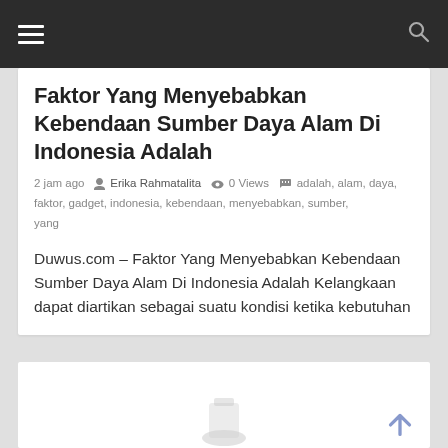Navigation bar with hamburger menu and search icon
Faktor Yang Menyebabkan Kebendaan Sumber Daya Alam Di Indonesia Adalah
2 jam ago  Erika Rahmatalita  0 Views  adalah, alam, daya, faktor, gadget, indonesia, kebendaan, menyebabkan, sumber, yang
Duwus.com – Faktor Yang Menyebabkan Kebendaan Sumber Daya Alam Di Indonesia Adalah Kelangkaan dapat diartikan sebagai suatu kondisi ketika kebutuhan
[Figure (photo): Partial view of a second article card at the bottom with a faint image visible and a back-to-top arrow button in the lower right]